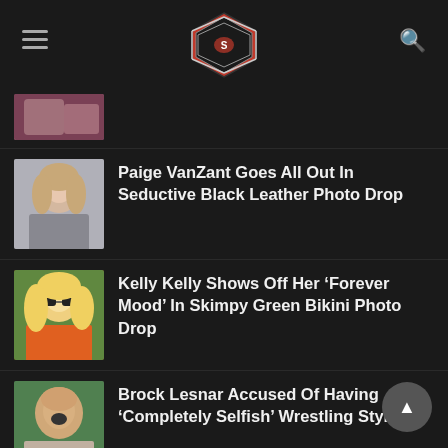Wrestling news site header with hamburger menu, logo, and search icon
[Figure (photo): Partially visible thumbnail image at top of list]
Paige VanZant Goes All Out In Seductive Black Leather Photo Drop
Kelly Kelly Shows Off Her ‘Forever Mood’ In Skimpy Green Bikini Photo Drop
Brock Lesnar Accused Of Having ‘Completely Selfish’ Wrestling Style